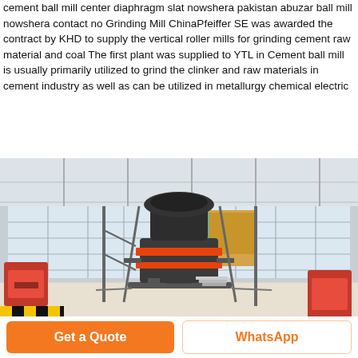cement ball mill center diaphragm slat nowshera pakistan abuzar ball mill nowshera contact no Grinding Mill ChinaPfeiffer SE was awarded the contract by KHD to supply the vertical roller mills for grinding cement raw material and coal The first plant was supplied to YTL in Cement ball mill is usually primarily utilized to grind the clinker and raw materials in cement industry as well as can be utilized in metallurgy chemical electric
[Figure (photo): Industrial hall with a large vertical roller mill machine (crusher/grinding equipment) in the foreground, with orange accent rings, set in a large factory building with glass windows. A banner with a mining/quarry image is visible in the background. Smaller red crushers are on the left and right.]
Get a Quote
WhatsApp